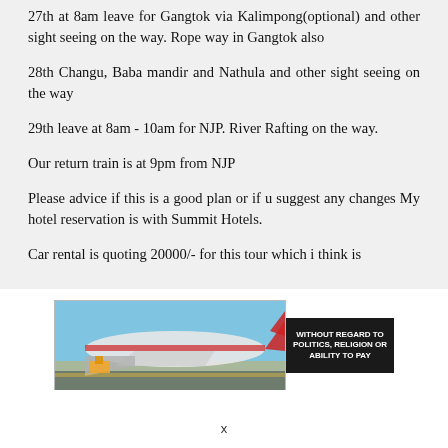27th at 8am leave for Gangtok via Kalimpong(optional) and other sight seeing on the way. Rope way in Gangtok also
28th Changu, Baba mandir and Nathula and other sight seeing on the way
29th leave at 8am - 10am for NJP. River Rafting on the way.
Our return train is at 9pm from NJP
Please advice if this is a good plan or if u suggest any changes My hotel reservation is with Summit Hotels.
Car rental is quoting 20000/- for this tour which i think is
[Figure (photo): Advertisement banner showing an airplane being loaded with cargo on the tarmac, with text overlay reading WITHOUT REGARD TO POLITICS, RELIGION OR ABILITY TO PAY]
x